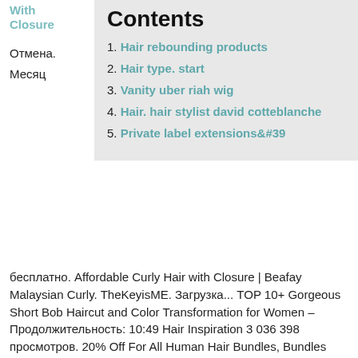With Closure
Отмена.
Месяц
Contents
1. Hair rebounding products
2. Hair type. start
3. Vanity uber riah wig
4. Hair. hair stylist david cotteblanche
5. Private label extensions&#39;
бесплатно. Affordable Curly Hair with Closure | Beafay Malaysian Curly. TheKeyisME. Загрузка... TOP 10+ Gorgeous Short Bob Haircut and Color Transformation for Women – Продолжительность: 10:49 Hair Inspiration 3 036 398 просмотров. 20% Off For All Human Hair Bundles, Bundles With Lace Closure&Lace Frontal and All Lace ... body wave, loose wave, water
If you must curl your extensions, it's in your best interest to use a method that is the least damaging